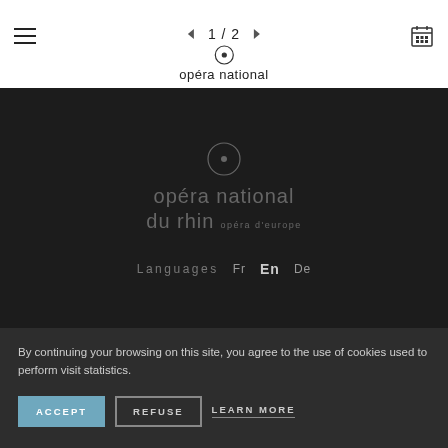≡  ◁  1 / 2  ▷  opéra national
[Figure (logo): Opéra national du Rhin logo with circle icon, text: opéra national du rhin opéra d'europe, on dark background]
Languages  Fr  En  De
By continuing your browsing on this site, you agree to the use of cookies used to perform visit statistics.
ACCEPT   REFUSE   LEARN MORE